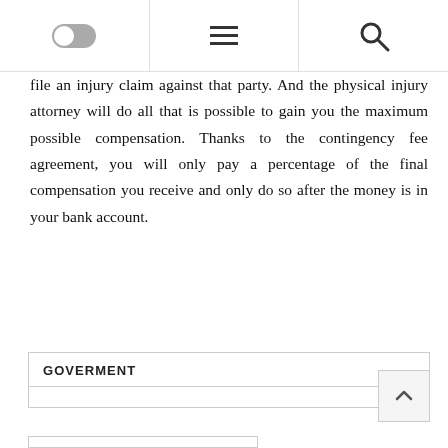[Navigation bar with toggle, hamburger menu, and search icon]
file an injury claim against that party. And the physical injury attorney will do all that is possible to gain you the maximum possible compensation. Thanks to the contingency fee agreement, you will only pay a percentage of the final compensation you receive and only do so after the money is in your bank account.
GOVERMENT